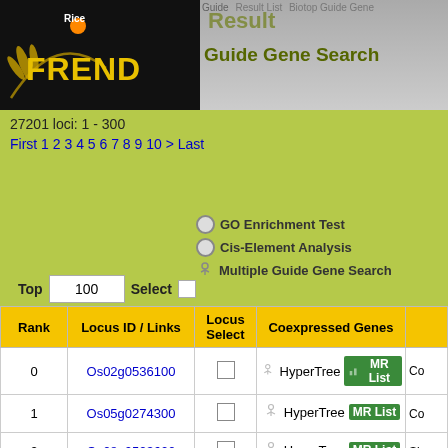[Figure (screenshot): RiceFREND web application header with logo and navigation bar showing 'Result' and 'Guide Gene Search' text]
27201 loci: 1 - 300
First 1 2 3 4 5 6 7 8 9 10 > Last
GO Enrichment Test
Cis-Element Analysis
Multiple Guide Gene Search
Top 100 Select
| Rank | Locus ID / Links | Locus Select | Coexpressed Genes |  |
| --- | --- | --- | --- | --- |
| 0 | Os02g0536100 |  | HyperTree  MR List | Co |
| 1 | Os05g0274300 |  | HyperTree  MR List | Co |
| 2 | Os08g0523600 |  | HyperTree  MR List | Sim |
| 3 | Os08g0441400 |  | HyperTree  MR List | Co |
|  |  |  |  | Nor |